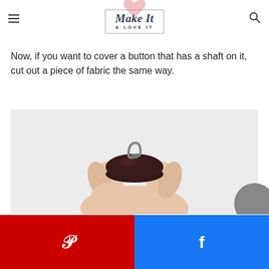Make It & LOVE IT
Now, if you want to cover a button that has a shaft on it, cut out a piece of fabric the same way.
[Figure (photo): A hand holding a small dark button with a metal shank/shaft loop on top, photographed against a light gray/white background.]
[Figure (infographic): Social sharing bar at the bottom. Left half is red with a Pinterest 'P' icon. Right half is blue with a Facebook 'f' icon.]